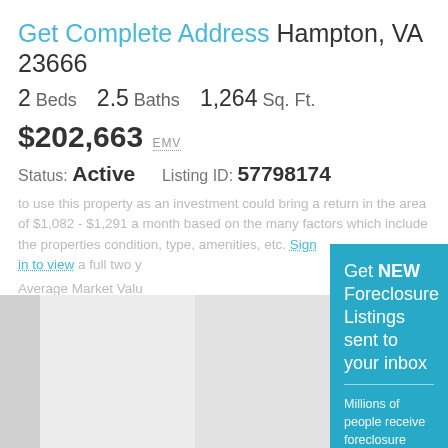Get Complete Address Hampton, VA 23666
2 Beds   2.5 Baths   1,264 Sq. Ft.
$202,663 EMV
Status: Active    Listing ID: 57798174
to use this property as an investment could bring a return in the area of $1,082 - $1,291 a month based on the many factors which include the properties condition, type, amenities, etc. Sign in to view a full two y... Average Market Valu...
[Figure (screenshot): Modal popup with teal background promoting foreclosure listing alerts. Contains title 'Get NEW Foreclosure Listings sent to your inbox', subtitle text 'Millions of people receive foreclosure alerts daily, don't miss out.', a red 'Signup Here' button, a white envelope icon, and 'No Thanks | Remind Me Later' text link.]